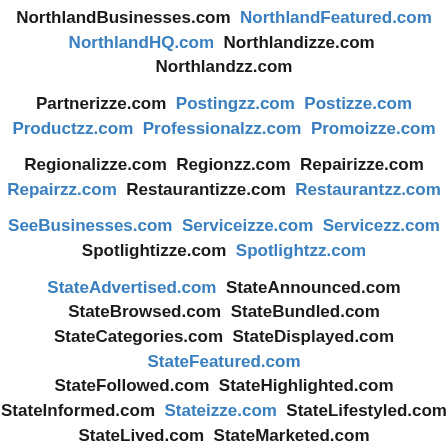NorthlandBusinesses.com NorthlandFeatured.com NorthlandHQ.com Northlandizze.com Northlandzz.com
Partnerizze.com Postingzz.com Postizze.com Productzz.com Professionalzz.com Promoizze.com
Regionalizze.com Regionzz.com Repairizze.com Repairzz.com Restaurantizze.com Restaurantzz.com
SeeBusinesses.com Serviceizze.com Servicezz.com Spotlightizze.com Spotlightzz.com
StateAdvertised.com StateAnnounced.com StateBrowsed.com StateBundled.com StateCategories.com StateDisplayed.com StateFeatured.com StateFollowed.com StateHighlighted.com StateInformed.com Stateizze.com StateLifestyled.com StateLived.com StateMarketed.com